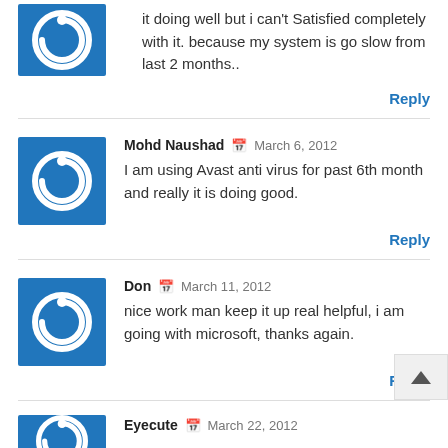it doing well but i can't Satisfied completely with it. because my system is go slow from last 2 months..
Reply
Mohd Naushad — March 6, 2012
I am using Avast anti virus for past 6th month and really it is doing good.
Reply
Don — March 11, 2012
nice work man keep it up real helpful, i am going with microsoft, thanks again.
Reply
Eyecute — March 22, 2012